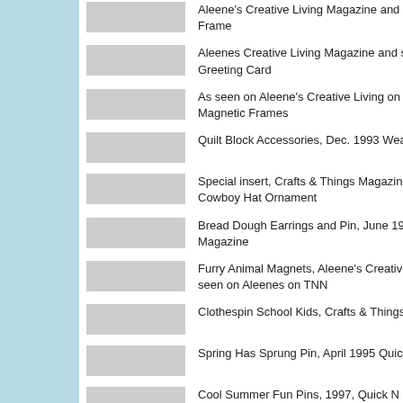Aleene's Creative Living Magazine and seen on [TV] Frame
Aleenes Creative Living Magazine and seen on [TV] Greeting Card
As seen on Aleene's Creative Living on TNN, Re[cycled] Magnetic Frames
Quilt Block Accessories, Dec. 1993 Wearable Cr[afts]
Special insert, Crafts & Things Magazine's "Trea[sures"] Cowboy Hat Ornament
Bread Dough Earrings and Pin, June 1993 Wea[rable] Magazine
Furry Animal Magnets, Aleene's Creative Living [Magazine] seen on Aleenes on TNN
Clothespin School Kids, Crafts & Things
Spring Has Sprung Pin, April 1995 Quick & Easy[...]
Cool Summer Fun Pins, 1997, Quick N Easy Cra[fts]
Frightful Feline Pin, Sept./Oct. 1998, Country Wo[man]
Seen on Aleene's Creative Living Television Sho[w] [Shortcut Craft Store] [leather Journal]